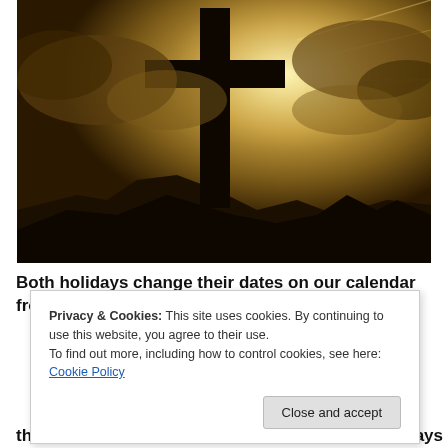[Figure (photo): Sepia-toned dramatic photograph of a large Christian cross silhouetted against a glowing sky with dark storm clouds and rays of light breaking through.]
Both holidays change their dates on our calendar from
Privacy & Cookies: This site uses cookies. By continuing to use this website, you agree to their use.
To find out more, including how to control cookies, see here: Cookie Policy
the Paschal Full Moon date of the year, which always